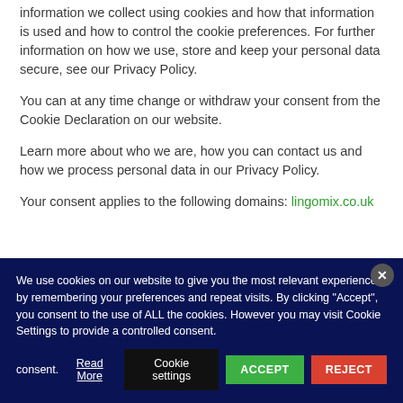information we collect using cookies and how that information is used and how to control the cookie preferences. For further information on how we use, store and keep your personal data secure, see our Privacy Policy.
You can at any time change or withdraw your consent from the Cookie Declaration on our website.
Learn more about who we are, how you can contact us and how we process personal data in our Privacy Policy.
Your consent applies to the following domains: lingomix.co.uk
We use cookies on our website to give you the most relevant experience by remembering your preferences and repeat visits. By clicking “Accept”, you consent to the use of ALL the cookies. However you may visit Cookie Settings to provide a controlled consent. Read More
Cookie settings | ACCEPT | REJECT